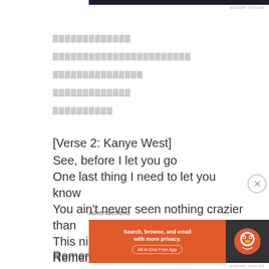[Figure (other): Dark banner at top of page (advertisement)]
REPORT THIS AD
[redacted/censored lines in gray blocks - 5 lines of redacted text]
[Verse 2: Kanye West]
See, before I let you go
One last thing I need to let you know
You ain't never seen nothing crazier than
This nigga when he off his Lexapro
Remember that last time in Mexico?
Remember that last time, the episode?
Advertisements
[Figure (other): DuckDuckGo advertisement banner: Search, browse, and email with more privacy. All in One Free App]
REPORT THIS AD